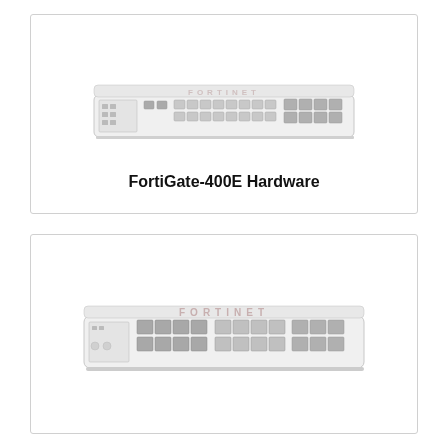[Figure (photo): Front panel photo of a FortiGate-400E network security appliance — a 1U rack-mount unit with white chassis, multiple RJ45 and SFP ports, and Fortinet branding on top]
FortiGate-400E Hardware
[Figure (photo): Front panel photo of a Fortinet network security appliance (larger/thicker variant) — a 1U rack-mount unit with white chassis, multiple SFP+ and RJ45 ports arranged in rows, and Fortinet branding on top]